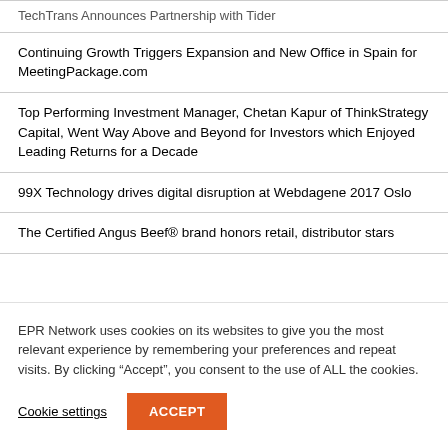TechTrans Announces Partnership with Tider
Continuing Growth Triggers Expansion and New Office in Spain for MeetingPackage.com
Top Performing Investment Manager, Chetan Kapur of ThinkStrategy Capital, Went Way Above and Beyond for Investors which Enjoyed Leading Returns for a Decade
99X Technology drives digital disruption at Webdagene 2017 Oslo
The Certified Angus Beef® brand honors retail, distributor stars
EPR Network uses cookies on its websites to give you the most relevant experience by remembering your preferences and repeat visits. By clicking "Accept", you consent to the use of ALL the cookies.
Cookie settings
ACCEPT